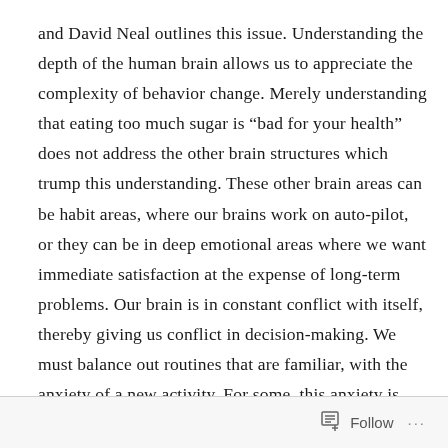and David Neal outlines this issue. Understanding the depth of the human brain allows us to appreciate the complexity of behavior change. Merely understanding that eating too much sugar is “bad for your health” does not address the other brain structures which trump this understanding. These other brain areas can be habit areas, where our brains work on auto-pilot, or they can be in deep emotional areas where we want immediate satisfaction at the expense of long-term problems. Our brain is in constant conflict with itself, thereby giving us conflict in decision-making. We must balance out routines that are familiar, with the anxiety of a new activity. For some, this anxiety is coded as excitement and so fresh experiences are constantly wanted. For others, the
Follow ···